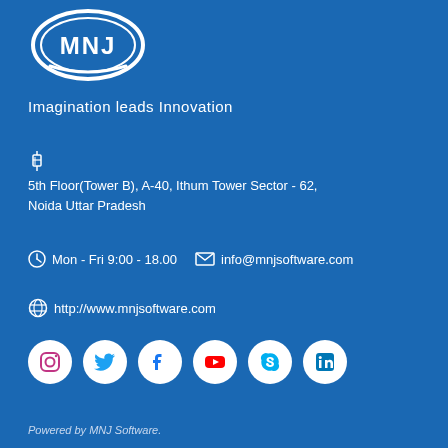[Figure (logo): MNJ logo — white oval with MNJ text inside on blue background]
Imagination leads Innovation
📍
5th Floor(Tower B), A-40, Ithum Tower Sector - 62, Noida Uttar Pradesh
🕐 Mon - Fri 9:00 - 18.00   ✉ info@mnjsoftware.com
🌐 http://www.mnjsoftware.com
[Figure (infographic): Social media icons row: Instagram, Twitter, Facebook, YouTube, Skype, LinkedIn — white circles on blue background]
Powered by MNJ Software.